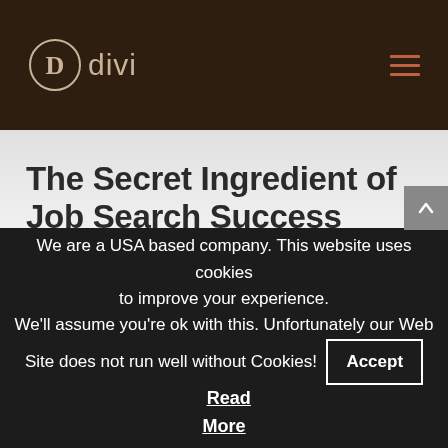divi
The Secret Ingredient of Job Search Success
by Joellyn Wittenstein Schwerdlin | Aug 26, 2014 | Mindset & Motivations |
We are a USA based company. This website uses cookies to improve your experience. We'll assume you're ok with this. Unfortunately our Web Site does not run well without Cookies! Accept Read More